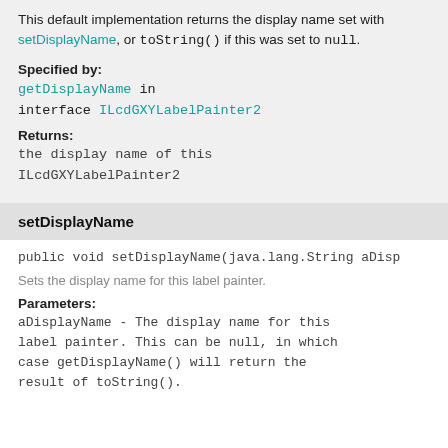This default implementation returns the display name set with setDisplayName, or toString() if this was set to null.
Specified by:
getDisplayName in interface ILcdGXYLabelPainter2
Returns:
the display name of this ILcdGXYLabelPainter2
setDisplayName
public void setDisplayName(java.lang.String aDisp
Sets the display name for this label painter.
Parameters:
aDisplayName - The display name for this label painter. This can be null, in which case getDisplayName() will return the result of toString().